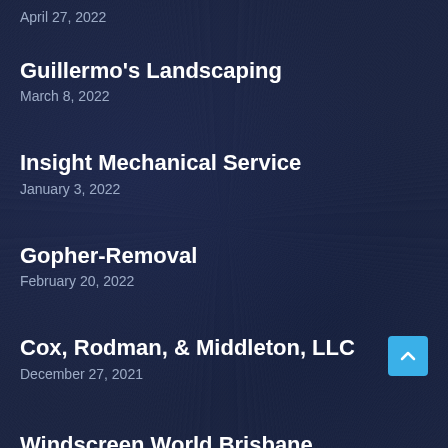April 27, 2022
Guillermo's Landscaping
March 8, 2022
Insight Mechanical Service
January 3, 2022
Gopher-Removal
February 20, 2022
Cox, Rodman, & Middleton, LLC
December 27, 2021
Windscreen World Brisbane
May 7, 2022